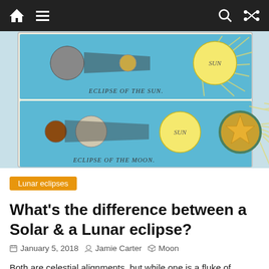Navigation bar with home, menu, search, and shuffle icons
[Figure (illustration): Vintage educational diagram showing Eclipse of the Sun (top panel) and Eclipse of the Moon (bottom panel), illustrated on blue background with celestial bodies including Earth, Moon, and Sun with rays]
Lunar eclipses
What's the difference between a Solar & a Lunar eclipse?
January 5, 2018  Jamie Carter  Moon
Both are celestial alignments, but while one is a fluke of nature, the other is much more common